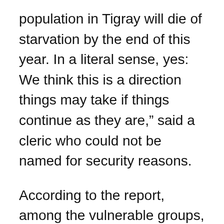population in Tigray will die of starvation by the end of this year. In a literal sense, yes: We think this is a direction things may take if things continue as they are,” said a cleric who could not be named for security reasons.
According to the report, among the vulnerable groups, Eritrean refugees in Ethiopia were receiving little attention or support, despite facing unique risks. In early 2021, two Eritrean refugee camps in Tigray were destroyed, allegedly by Eritrean troops, leaving approximately 20,000 Eritrean refugees